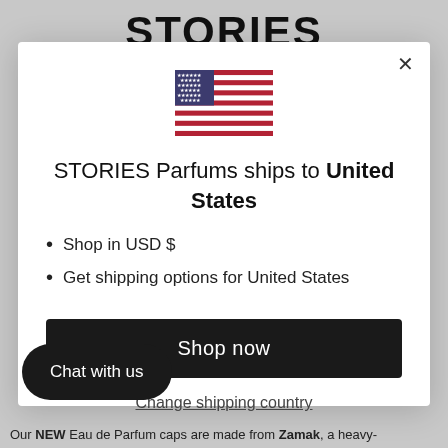STORIES
[Figure (illustration): US flag icon centered in modal dialog]
STORIES Parfums ships to United States
Shop in USD $
Get shipping options for United States
Shop now
Change shipping country
Chat with us
Our NEW Eau de Parfum caps are made from Zamak, a heavy-